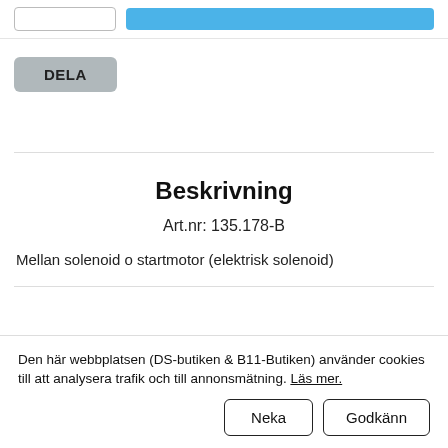[Figure (screenshot): Top bar with a white input box and a blue bar element side by side]
DELA
Beskrivning
Art.nr: 135.178-B
Mellan solenoid o startmotor (elektrisk solenoid)
Den här webbplatsen (DS-butiken & B11-Butiken) använder cookies till att analysera trafik och till annonsmätning. Läs mer.
Neka
Godkänn